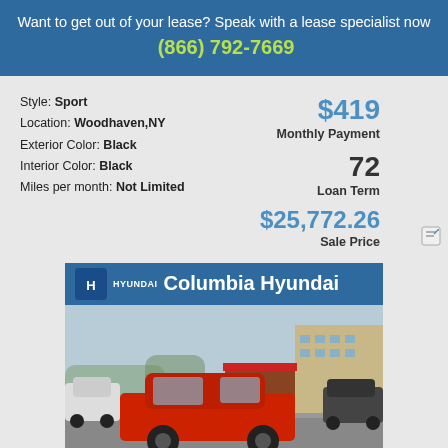Want to get out of your lease? Speak with a lease specialist now  (866) 792-7669
Style: Sport
Location: Woodhaven,NY
Exterior Color: Black
Interior Color: Black
Miles per month: Not Limited
$419
Monthly Payment
72
Loan Term
$25,772.26
Sale Price
[Figure (photo): Columbia Hyundai dealership banner with a red Honda Civic Sport parked in a lot with other vehicles and a building in the background]